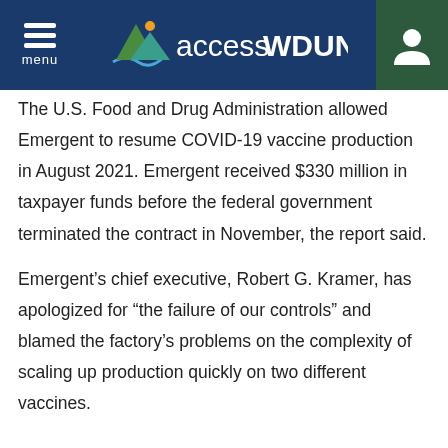accessWDUN
The U.S. Food and Drug Administration allowed Emergent to resume COVID-19 vaccine production in August 2021. Emergent received $330 million in taxpayer funds before the federal government terminated the contract in November, the report said.
Emergent’s chief executive, Robert G. Kramer, has apologized for “the failure of our controls” and blamed the factory’s problems on the complexity of scaling up production quickly on two different vaccines.